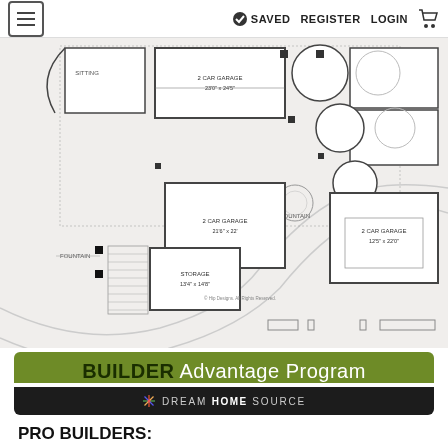≡  ✓ SAVED  REGISTER  LOGIN  🛒
[Figure (engineering-diagram): Architectural floor plan showing garage areas, storage, fountain features, and driveway. Labels include: 2 CAR GARAGE 23'0" x 24'5", 2 CAR GARAGE 21'6" x 22', 2 CAR GARAGE 12'5" x 22'0", STORAGE 13'4" x 14'8", FOUNTAIN (two instances), SITTING room in upper left.]
BUILDER Advantage Program
DREAM HOME SOURCE
PRO BUILDERS:
Join the club and save 5% on your first order plus exclusive